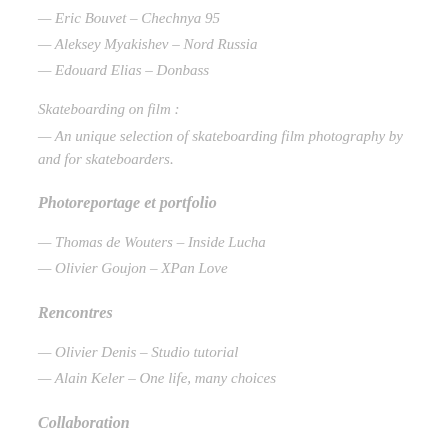— Eric Bouvet – Chechnya 95
— Aleksey Myakishev – Nord Russia
— Edouard Elias – Donbass
Skateboarding on film :
— An unique selection of skateboarding film photography by and for skateboarders.
Photoreportage et portfolio
— Thomas de Wouters – Inside Lucha
— Olivier Goujon – XPan Love
Rencontres
— Olivier Denis – Studio tutorial
— Alain Keler – One life, many choices
Collaboration